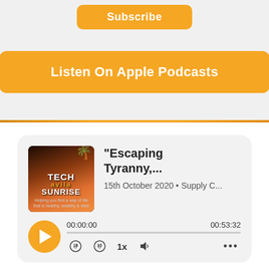[Figure (screenshot): Orange Subscribe button (partially visible at top)]
[Figure (screenshot): Orange 'Listen On Apple Podcasts' button]
[Figure (screenshot): Podcast player card showing 'Escaping Tyranny,...' episode from Tech Avila Sunrise podcast, dated 15th October 2020, Supply C..., duration 00:53:32, with play controls including rewind, fast-forward, 1x speed, volume, and more options.]